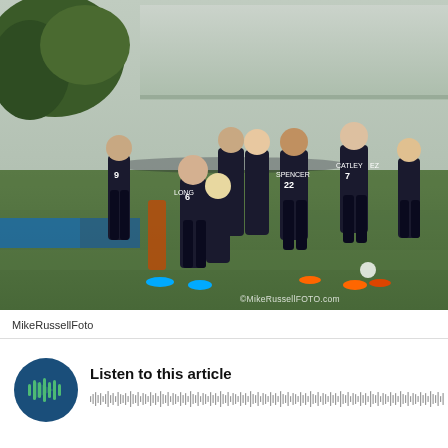[Figure (photo): Women's soccer team in dark uniforms huddling together on a green field, with stadium stands visible in the background. Players with jersey numbers 9, 6, 22 (SPENCER), 7 (CATLEY) visible. Photo credit: ©MikeRussellFOTO.com]
MikeRussellFoto
[Figure (other): Audio player widget with a circular dark blue play button containing a green play/waveform icon, text 'Listen to this article', and a waveform visualization bar below]